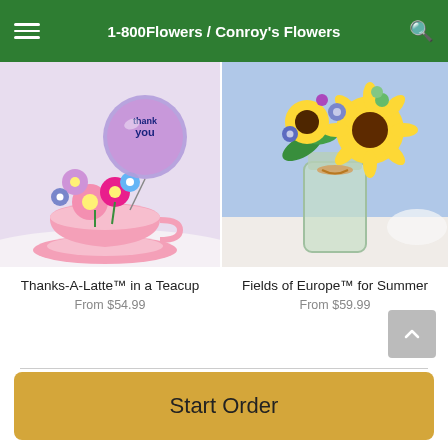1-800Flowers / Conroy's Flowers
[Figure (photo): Pink teacup filled with colorful pink, purple, and blue flowers with a 'Thank You' balloon, arranged in a teacup and saucer]
Thanks-A-Latte™ in a Teacup
From $54.99
[Figure (photo): Glass jar filled with bright yellow sunflowers, purple, and blue flowers tied with twine, on a white table]
Fields of Europe™ for Summer
From $59.99
POWERED BY
Start Order